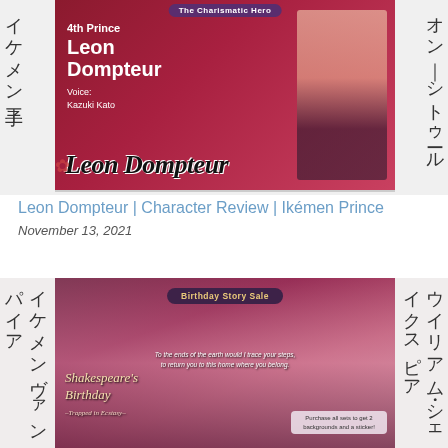[Figure (illustration): Anime-style illustration of Leon Dompteur, 4th Prince, with red background. Text overlay: 'The Charismatic Hero', '4th Prince Leon Dompteur', 'Voice: Kazuki Kato'. Script lettering 'Leon Dompteur' across the bottom. Japanese text on left and right sides.]
Leon Dompteur | Character Review | Ikémen Prince
November 13, 2021
[Figure (illustration): Birthday Story Sale promotional banner for an Ikémen Vampire character (Shakespeare's Birthday). Features anime-style close-up of two characters almost kissing. Text: 'Birthday Story Sale', quote text, 'Shakespeare's Birthday –Trapped in Ecstasy–', 'Purchase all sets to get 2 backgrounds and a sticker!' Japanese text on left and right sides.]